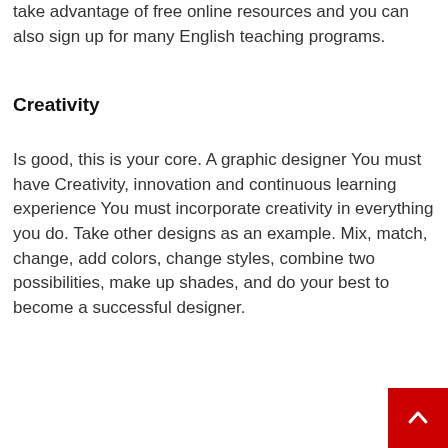take advantage of free online resources and you can also sign up for many English teaching programs.
Creativity
Is good, this is your core. A graphic designer You must have Creativity, innovation and continuous learning experience You must incorporate creativity in everything you do. Take other designs as an example. Mix, match, change, add colors, change styles, combine two possibilities, make up shades, and do your best to become a successful designer.